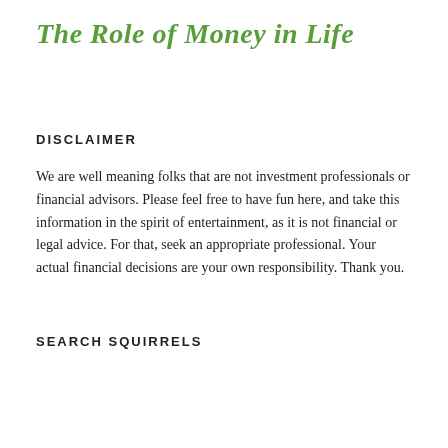The Role of Money in Life
DISCLAIMER
We are well meaning folks that are not investment professionals or financial advisors. Please feel free to have fun here, and take this information in the spirit of entertainment, as it is not financial or legal advice. For that, seek an appropriate professional. Your actual financial decisions are your own responsibility. Thank you.
SEARCH SQUIRRELS